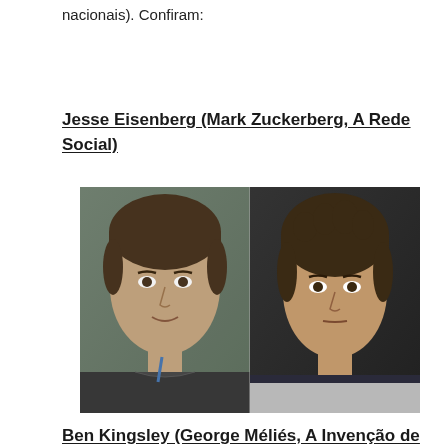nacionais). Confiram:
Jesse Eisenberg (Mark Zuckerberg, A Rede Social)
[Figure (photo): Side-by-side photo comparison of Mark Zuckerberg (real person, left) and Jesse Eisenberg as Mark Zuckerberg in the movie A Rede Social (right). Both are young men looking at the camera.]
Ben Kingsley (George Méliés, A Invenção de